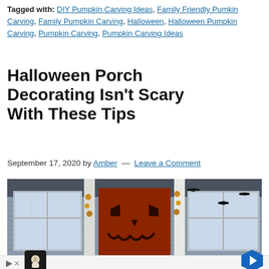Tagged with: DIY Pumpkin Carving Ideas, Family Friendly Pumkin Carving, Family Pumpkin Carving, Halloween, Halloween Pumpkin Carving, Pumpkin Carving, Pumpkin Carving Ideas
Halloween Porch Decorating Isn't Scary With These Tips
September 17, 2020 by Amber — Leave a Comment
[Figure (photo): Photo of a Halloween-decorated porch with a red door painted with a jack-o-lantern face, white columns wrapped with black bat decorations and autumn leaves, and windows on either side. The house exterior is gray siding.]
[Figure (other): Advertisement bar at the bottom with a play button, a small black square icon with a cartoon ghost/skull character, and a blue diamond-shaped navigation arrow icon.]